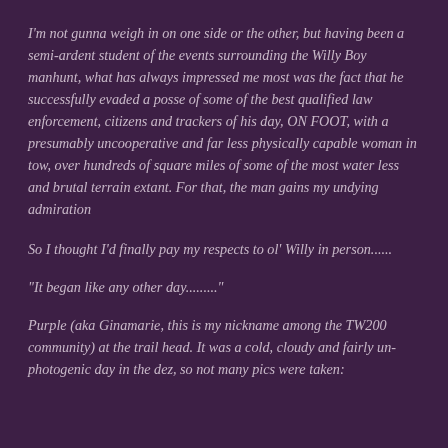I'm not gunna weigh in on one side or the other, but having been a semi-ardent student of the events surrounding the Willy Boy manhunt, what has always impressed me most was the fact that he successfully evaded a posse of some of the best qualified law enforcement, citizens and trackers of his day, ON FOOT, with a presumably uncooperative and far less physically capable woman in tow, over hundreds of square miles of some of the most water less and brutal terrain extant. For that, the man gains my undying admiration
So I thought I'd finally pay my respects to ol' Willy in person......
"It began like any other day........."
Purple (aka Ginamarie, this is my nickname among the TW200 community) at the trail head. It was a cold, cloudy and fairly un-photogenic day in the dez, so not many pics were taken: